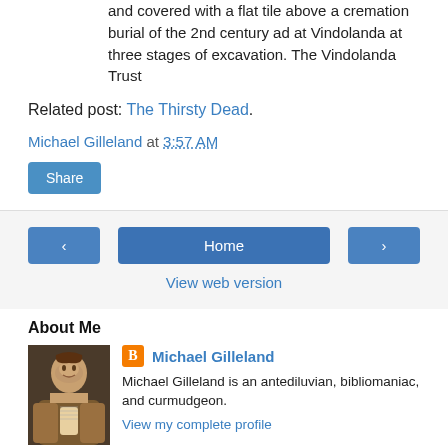and covered with a flat tile above a cremation burial of the 2nd century ad at Vindolanda at three stages of excavation. The Vindolanda Trust
Related post: The Thirsty Dead.
Michael Gilleland at 3:57 AM
Share
Home
View web version
About Me
Michael Gilleland
Michael Gilleland is an antediluvian, bibliomaniac, and curmudgeon.
View my complete profile